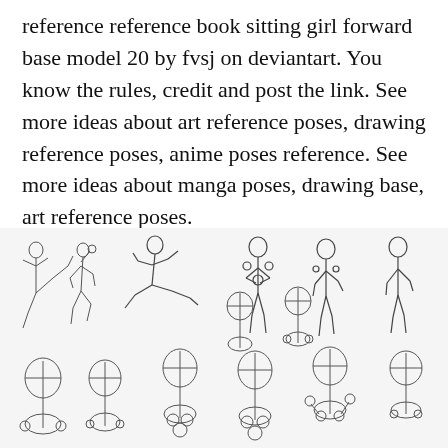reference reference book sitting girl forward base model 20 by fvsj on deviantart. You know the rules, credit and post the link. See more ideas about art reference poses, drawing reference poses, anime poses reference. See more ideas about manga poses, drawing base, art reference poses.
[Figure (illustration): Collection of anime/manga body pose reference sketches showing figures in various dynamic and standing poses, drawn in outline style with construction lines visible.]